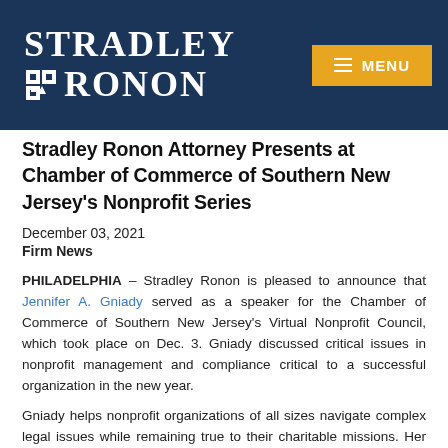[Figure (logo): Stradley Ronon law firm logo in white text on dark navy background with hamburger menu button in gold]
Stradley Ronon Attorney Presents at Chamber of Commerce of Southern New Jersey's Nonprofit Series
December 03, 2021
Firm News
PHILADELPHIA – Stradley Ronon is pleased to announce that Jennifer A. Gniady served as a speaker for the Chamber of Commerce of Southern New Jersey's Virtual Nonprofit Council, which took place on Dec. 3. Gniady discussed critical issues in nonprofit management and compliance critical to a successful organization in the new year.
Gniady helps nonprofit organizations of all sizes navigate complex legal issues while remaining true to their charitable missions. Her practice combines experience with both tax exemption issues and corporate matters. She works with clients to ensure that transitions, the tax and legal landscape,